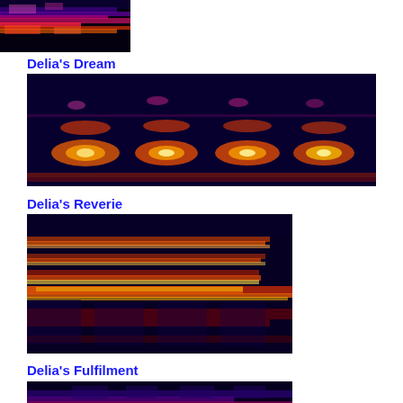[Figure (continuous-plot): Partial spectrogram image at top of page, cropped — shows colorful frequency bands in purple/red/pink on dark background]
Delia's Dream
[Figure (continuous-plot): Spectrogram of 'Delia's Dream' — wide full-width image showing frequency over time with hot-spot clusters of bright yellow/white/red on dark purple/black background, repeating harmonic blobs across time]
Delia's Reverie
[Figure (continuous-plot): Spectrogram of 'Delia's Reverie' — roughly half-width image showing horizontal frequency bands in orange/red/yellow on dark purple background with some vertical structure]
Delia's Fulfilment
[Figure (continuous-plot): Partial spectrogram of 'Delia's Fulfilment' — bottom of page, cropped, showing colorful frequency structure in purple/red/blue tones]